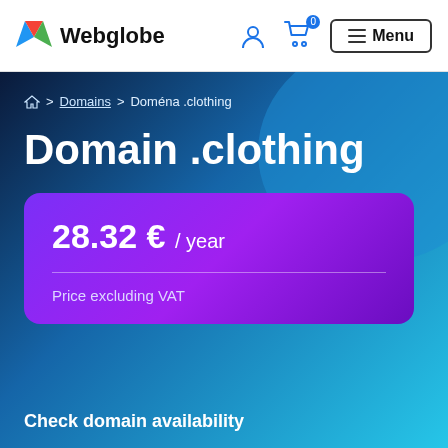Webglobe — navigation bar with logo, user icon, cart (0), and Menu button
🏠 > Domains > Doména .clothing
Domain .clothing
28.32 € / year
Price excluding VAT
Check domain availability